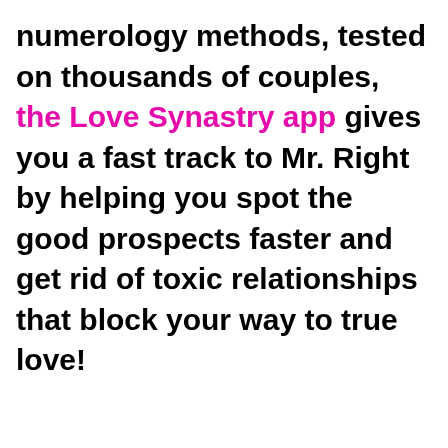numerology methods, tested on thousands of couples, the Love Synastry app gives you a fast track to Mr. Right by helping you spot the good prospects faster and get rid of toxic relationships that block your way to true love!